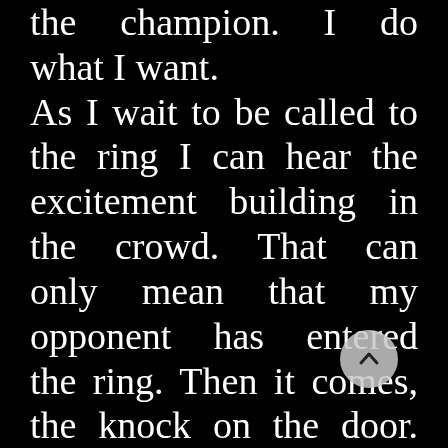the champion. I do what I want. As I wait to be called to the ring I can hear the excitement building in the crowd. That can only mean that my opponent has entered the ring. Then it comes, the knock on the door. “It’s time Champ. They’re ready for you.” With that I open the